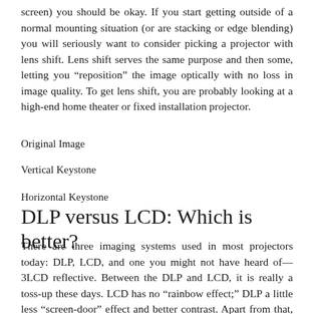screen) you should be okay. If you start getting outside of a normal mounting situation (or are stacking or edge blending) you will seriously want to consider picking a projector with lens shift. Lens shift serves the same purpose and then some, letting you “reposition” the image optically with no loss in image quality. To get lens shift, you are probably looking at a high-end home theater or fixed installation projector.
Original Image
Vertical Keystone
Horizontal Keystone
DLP versus LCD: Which is better?
There are three imaging systems used in most projectors today: DLP, LCD, and one you might not have heard of—3LCD reflective. Between the DLP and LCD, it is really a toss-up these days. LCD has no “rainbow effect;” DLP a little less “screen-door” effect and better contrast. Apart from that, LCD has a slight reliability edge in that there are no moving parts in the imaging system, whereas